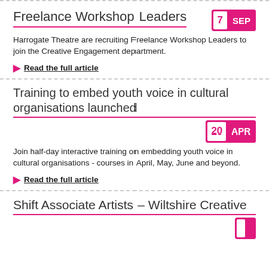Freelance Workshop Leaders
Harrogate Theatre are recruiting Freelance Workshop Leaders to join the Creative Engagement department.
Read the full article
Training to embed youth voice in cultural organisations launched
Join half-day interactive training on embedding youth voice in cultural organisations - courses in April, May, June and beyond.
Read the full article
Shift Associate Artists - Wiltshire Creative